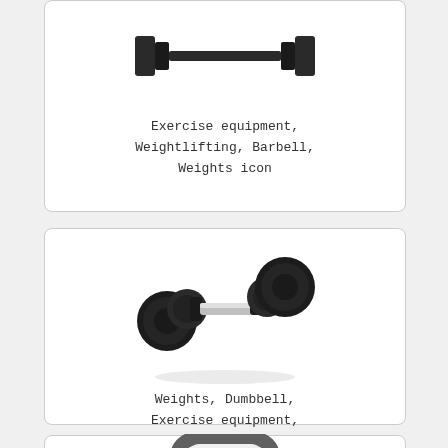[Figure (illustration): Flat black icon of a barbell with weights on both ends, shown from a top/front angle]
Exercise equipment, Weightlifting, Barbell, Weights icon
[Figure (illustration): 3D rendered dumbbell with black weight plates on both ends and a silver bar, shown at a diagonal angle]
Weights, Dumbbell, Exercise equipment, Barbell icon
[Figure (illustration): Gray flat icon of a kettlebell with a handle on top, shown from front]